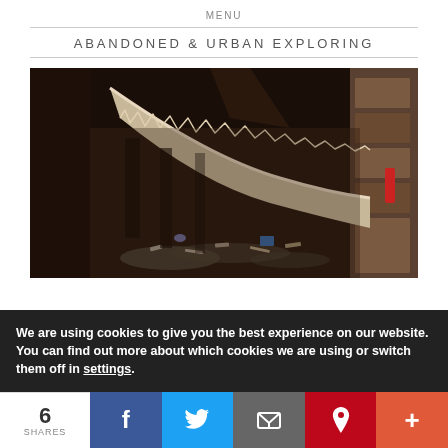MENU
ABANDONED & URBAN EXPLORING
[Figure (photo): Interior of an abandoned building showing a collapsed or fallen arched ceiling/wall structure with debris scattered on the floor, dark burnt walls, and wooden panels on the right side.]
We are using cookies to give you the best experience on our website.
You can find out more about which cookies we are using or switch them off in settings.
6 SHARES